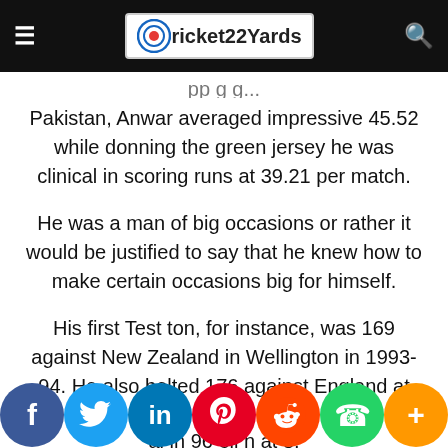Cricket22Yards
Pakistan, Anwar averaged impressive 45.52 while donning the green jersey he was clinical in scoring runs at 39.21 per match.
He was a man of big occasions or rather it would be justified to say that he knew how to make certain occasions big for himself.
His first Test ton, for instance, was 169 against New Zealand in Wellington in 1993-94. He also belted 176 against England at The Oval in 1996 Wellington at 1998...